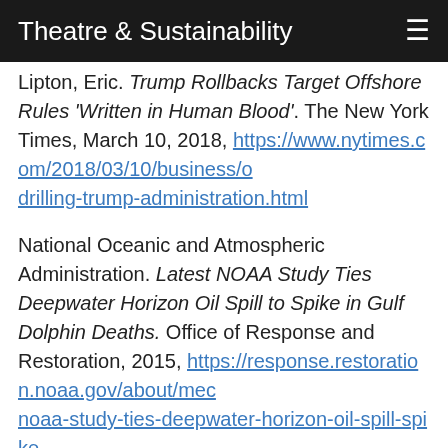Theatre & Sustainability
Lipton, Eric. Trump Rollbacks Target Offshore Rules 'Written in Human Blood'. The New York Times, March 10, 2018, https://www.nytimes.com/2018/03/10/business/o drilling-trump-administration.html
National Oceanic and Atmospheric Administration. Latest NOAA Study Ties Deepwater Horizon Oil Spill to Spike in Gulf Dolphin Deaths. Office of Response and Restoration, 2015, https://response.restoration.noaa.gov/about/mec noaa-study-ties-deepwater-horizon-oil-spill-spike-gulf-dolphin-deaths.html
National Oceanic and Atmospheric Administration. Deepwater Horizon Oil Spill. Office